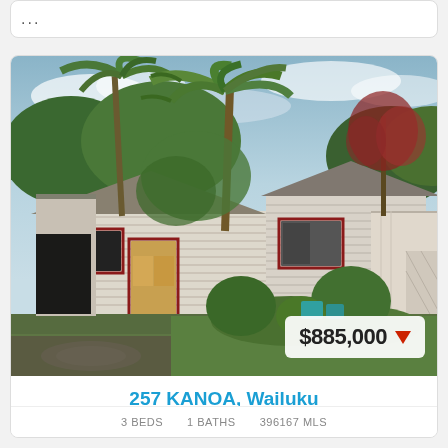...
[Figure (photo): Exterior photo of a single-story white house with red trim, surrounded by palm trees and tropical vegetation. A price badge showing $885,000 with a red downward arrow is overlaid on the lower right of the photo.]
257 KANOA, Wailuku
3 BEDS   1 BATHS   396167 MLS